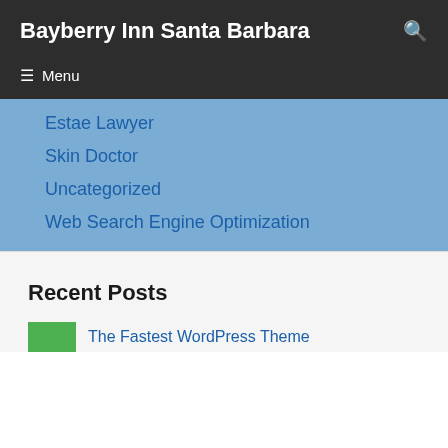Bayberry Inn Santa Barbara
Estae Lawyer
Skin Doctor
Uncategorized
Web Search Engine Optimization
Recent Posts
The Fastest WordPress Theme